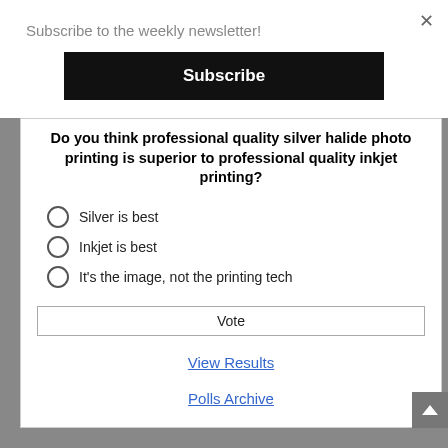Subscribe to the weekly newsletter!
Subscribe
Do you think professional quality silver halide photo printing is superior to professional quality inkjet printing?
Silver is best
Inkjet is best
It's the image, not the printing tech
Vote
View Results
Polls Archive